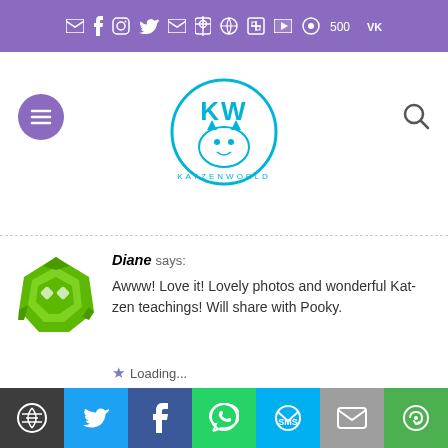Social icons bar (mail, facebook, instagram, twitter, email, pinterest, rss, linkedin, youtube, 500px, vk)
[Figure (screenshot): Website navigation bar with purple hamburger menu button, KatzenWorld logo (cat face in circle), and search icon]
Diane says:
Awww! Love it! Lovely photos and wonderful Kat-zen teachings! Will share with Pooky.
★ Like Loading...
AUGUST 6, 2014 AT 8:18 AM   REPLY
Marc-André says:
Thank you Diane 🙂
Share buttons: WordPress, Twitter, Facebook, WhatsApp, SMS, Email, Copy